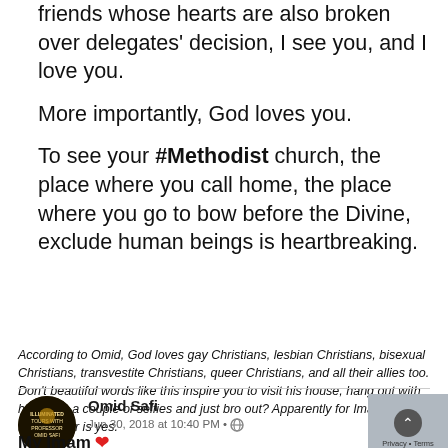And to the friends and allies of all LGBTQ friends whose hearts are also broken over delegates' decision, I see you, and I love you.
More importantly, God loves you.
To see your #Methodist church, the place where you call home, the place where you go to bow before the Divine, exclude human beings is heartbreaking.
According to Omid, God loves gay Christians, lesbian Christians, bisexual Christians, transvestite Christians, queer Christians, and all their allies too. Don't beautiful words like this inspire you to visit his house, hang out with him, take a couple of selfies and just bro out? Apparently for Imam Omar, the answer is yes.
Omid Safi
Jun 30, 2018 at 10:40 PM •
My Imam ❤